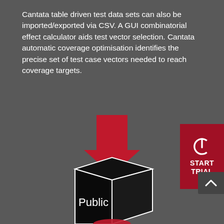Cantata table driven test data sets can also be imported/exported via CSV. A GUI combinatorial effect calculator aids test vector selection. Cantata automatic coverage optimisation identifies the precise set of test case vectors needed to reach coverage targets.
[Figure (illustration): A red downward-pointing arrow above a black 3D cube with 'Public' written on its front face, partially visible red element at bottom]